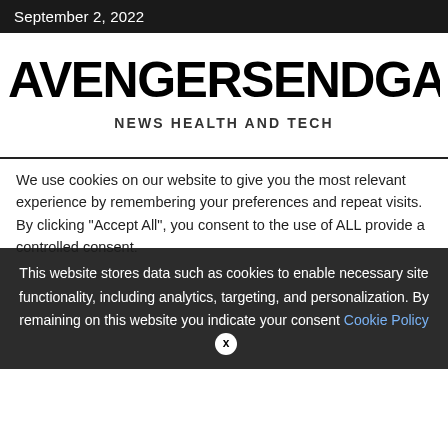September 2, 2022
AVENGERSENDGAMEFU
NEWS HEALTH AND TECH
We use cookies on our website to give you the most relevant experience by remembering your preferences and repeat visits. By clicking "Accept All", you consent to the use of ALL provide a controlled consent.
This website stores data such as cookies to enable necessary site functionality, including analytics, targeting, and personalization. By remaining on this website you indicate your consent Cookie Policy